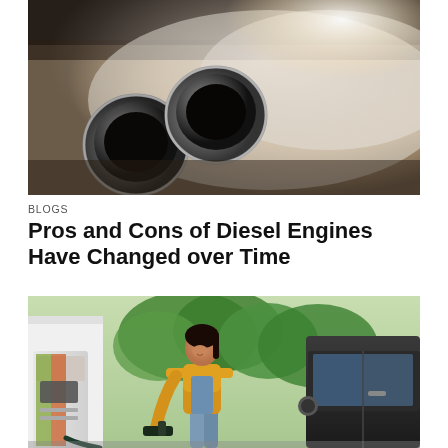[Figure (photo): Close-up of dual exhaust pipes emitting smoke/exhaust fumes, dark metal pipes, blurred background with light flare]
BLOGS
Pros and Cons of Diesel Engines Have Changed over Time
[Figure (photo): Woman in a yellow shirt and denim shorts fueling a dark SUV at a gas station, smiling, green trees in background]